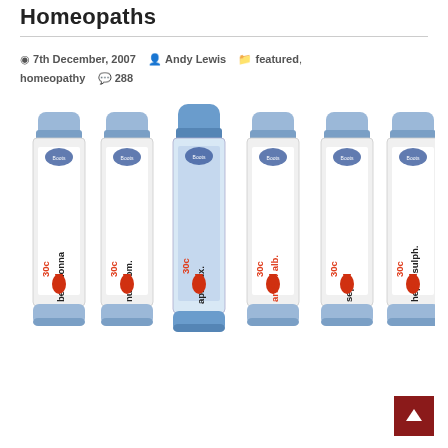Homeopaths
7th December, 2007   Andy Lewis   featured, homeopathy   288
[Figure (photo): Six Boots homeopathic remedy vials/tubes arranged in a row, each labeled with names: belladonna 30c, nux vom. 30c, apis lux. 30c, arsen. alb. 30c, sepia 30c, hepar sulph. 30c. The tubes have blue lids and white labels with red teardrop symbols.]